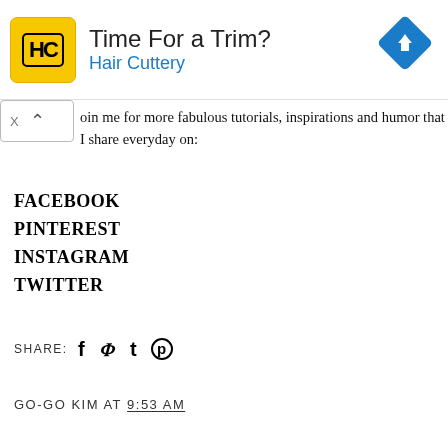[Figure (other): Hair Cuttery advertisement banner with yellow HC logo, title 'Time For a Trim?', subtitle 'Hair Cuttery', and a blue direction arrow icon on the right]
oin me for more fabulous tutorials, inspirations and humor that I share everyday on:
FACEBOOK
PINTEREST
INSTAGRAM
TWITTER
SHARE: f t p (social share icons)
GO-GO KIM AT 9:53 AM